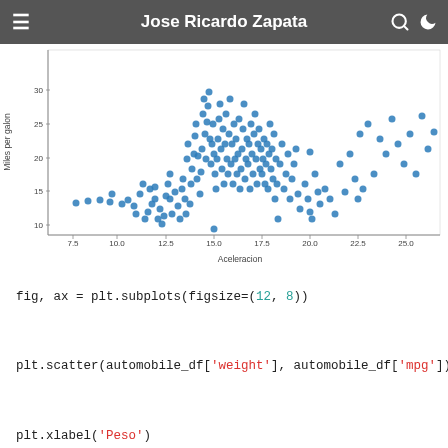Jose Ricardo Zapata
[Figure (continuous-plot): Scatter plot showing Miles per gallon (y-axis, range ~9 to ~35) vs Aceleracion (x-axis, range 7.5 to 25.0). Dense cloud of blue dots showing a positive correlation between acceleration and miles per gallon.]
fig, ax = plt.subplots(figsize=(12, 8))

plt.scatter(automobile_df['weight'], automobile_df['mpg'])

plt.xlabel('Peso')
plt.ylabel('Millas por galon');